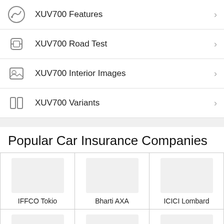XUV700 Features
XUV700 Road Test
XUV700 Interior Images
XUV700 Variants
Popular Car Insurance Companies
[Figure (other): Grid of car insurance company logos: IFFCO Tokio, Bharti AXA, ICICI Lombard, and a partial second row]
IFFCO Tokio | Bharti AXA | ICICI Lombard